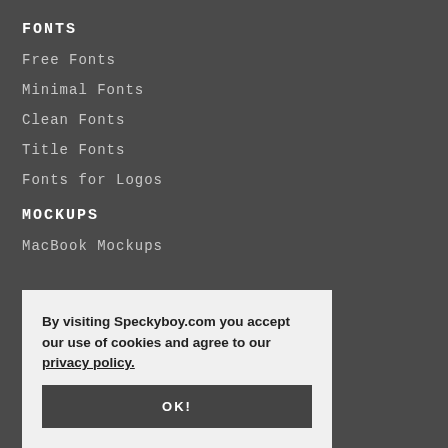FONTS
Free Fonts
Minimal Fonts
Clean Fonts
Title Fonts
Fonts for Logos
MOCKUPS
MacBook Mockups
Logo Mockup Templates (partially visible)
By visiting Speckyboy.com you accept our use of cookies and agree to our privacy policy.
OK!